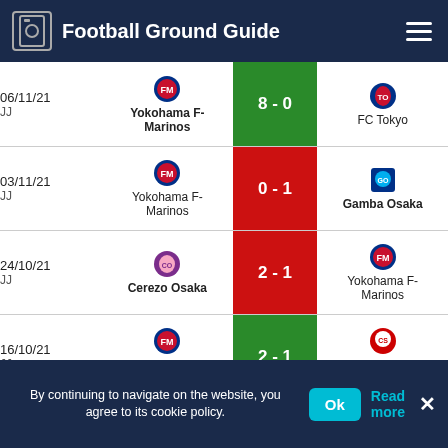Football Ground Guide
| Date/Comp | Home | Score | Away |
| --- | --- | --- | --- |
| 06/11/21 JJ | Yokohama F-Marinos | 8 - 0 | FC Tokyo |
| 03/11/21 JJ | Yokohama F-Marinos | 0 - 1 | Gamba Osaka |
| 24/10/21 JJ | Cerezo Osaka | 2 - 1 | Yokohama F-Marinos |
| 16/10/21 JJ | Yokohama F-Marinos | 2 - 1 | Consadole Sapporo |
| 01/10/21 JJ | Shonan Bellmare | 0 - 1 | Yokohama F-Marinos |
By continuing to navigate on the website, you agree to its cookie policy.